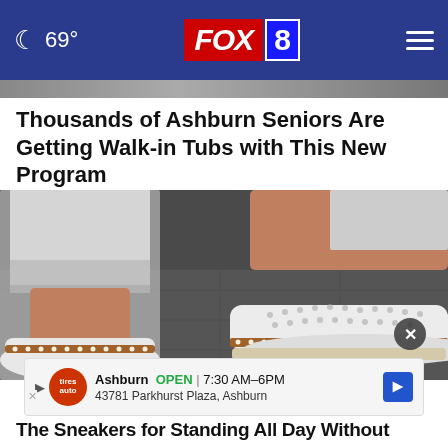69° FOX 8
Thousands of Ashburn Seniors Are Getting Walk-in Tubs with This New Program
Smart Consumer Update
[Figure (photo): Close-up photo of a person wearing white casual slip-on sneakers with brown trim and perforated design, paired with white jeans, standing on a dark surface]
Ashburn OPEN | 7:30 AM–6PM
43781 Parkhurst Plaza, Ashburn
The Sneakers for Standing All Day Without